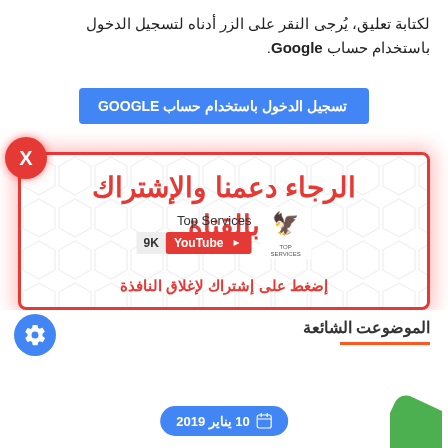لكتابة تعليق، يُرجى النقر على الزر أدناه لتسجيل الدخول باستخدام حساب Google.
تسجيل الدخول باستخدام حساب GOOGLE
[Figure (screenshot): Popup modal with red border on hexagonal background. Title: الرجاء دعمنا والإشتراك بالقناة. Shows Top Services YouTube channel with 9K subscribers. Subscribe button. Close X button in red circle. Bottom text: إضغط على إشتراك لإغلاق النافذة]
الموضوعات الشائعة
10 يناير 2019